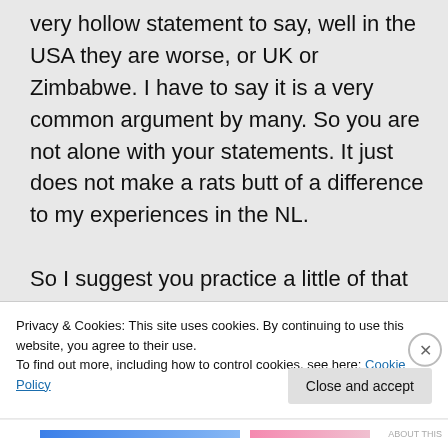very hollow statement to say, well in the USA they are worse, or UK or Zimbabwe. I have to say it is a very common argument by many. So you are not alone with your statements. It just does not make a rats butt of a difference to my experiences in the NL.
So I suggest you practice a little of that Dutch tolerance you so much admire and listen and read and be open minded to other peoples opinions.
Privacy & Cookies: This site uses cookies. By continuing to use this website, you agree to their use. To find out more, including how to control cookies, see here: Cookie Policy